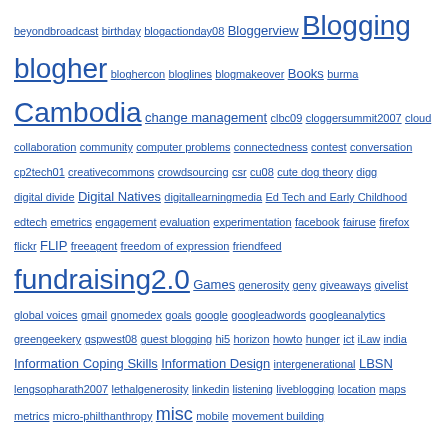beyondbroadcast birthday blogactionday08 Bloggerview Blogging blogher bloghercon bloglines blogmakeover Books burma Cambodia change management clbc09 cloggersummit2007 cloud collaboration community computer problems connectedness contest conversation cp2tech01 creativecommons crowdsourcing csr cu08 cute dog theory digg digital divide Digital Natives digitallearningmedia Ed Tech and Early Childhood edtech emetrics engagement evaluation experimentation facebook fairuse firefox flickr FLIP freeagent freedom of expression friendfeed fundraising2.0 Games generosity geny giveaways givelist global voices gmail gnomedex goals google googleadwords googleanalytics greengeekery gspwest08 guest blogging hi5 horizon howto hunger ict iLaw india Information Coping Skills Information Design intergenerational LBSN lengsopharath2007 lethalgenerosity linkedin listening liveblogging location maps metrics micro-philthanthropy misc mobile movement building